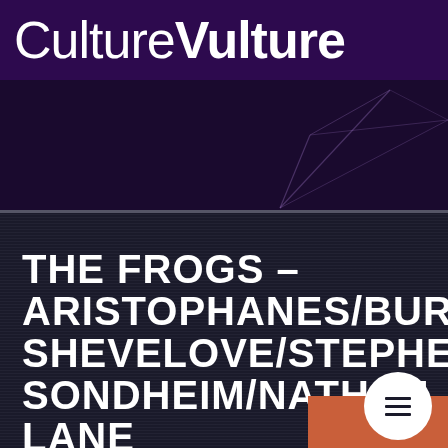CultureVulture
[Figure (illustration): Dark purple background with geometric line art forming an abstract angular shape (origami/paper plane style lines) in the center-right area]
THE FROGS - ARISTOPHANES/BURT SHEVELOVE/STEPHEN SONDHEIM/NATHAN LANE
[Figure (other): Orange rectangle with white circle hamburger menu button in the bottom right corner]